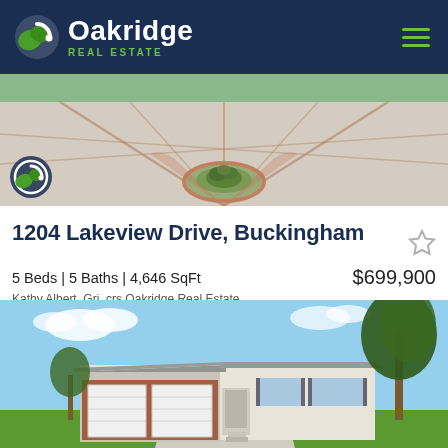[Figure (logo): Oakridge Real Estate logo with green leaf icon on dark navy header bar, with hamburger menu icon on right]
[Figure (photo): Aerial or overhead view of a decorative circular brick patio driveway with a central circular garden bed containing plants and flowers]
1204 Lakeview Drive, Buckingham
5 Beds | 5 Baths | 4,646 SqFt   $699,900
Kathy Albert, Gri, crs Oakridge Real Estate
[Figure (photo): Exterior photo of a single-story ranch-style home with attached two-car garage with brick facade, white siding, and large trees on a sunny day with green lawn]